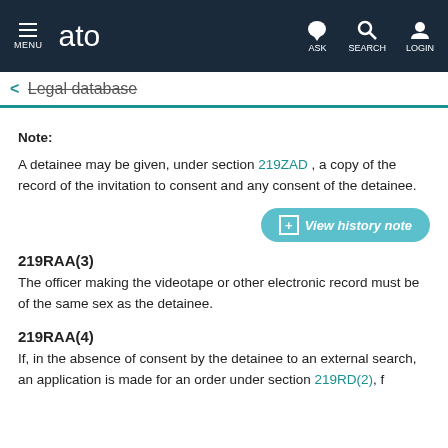MENU | ato | ASK | SEARCH | LOGIN
← Legal database
Note:
A detainee may be given, under section 219ZAD , a copy of the record of the invitation to consent and any consent of the detainee.
+ View history note
219RAA(3)
The officer making the videotape or other electronic record must be of the same sex as the detainee.
219RAA(4)
If, in the absence of consent by the detainee to an external search, an application is made for an order under section 219RD(2), f